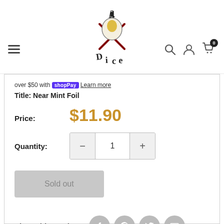Asgards Dice — navigation header with logo, hamburger menu, search, account, and cart icons
over $50 with Shop Pay  Learn more
Title: Near Mint Foil
Price: $11.90
Quantity: 1
Sold out
Share this product